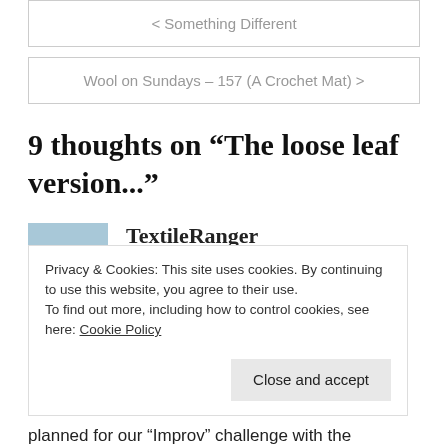< Something Different
Wool on Sundays – 157 (A Crochet Mat) >
9 thoughts on “The loose leaf version...”
TextileRanger
October 1, 2018 at 9:32 pm
Privacy & Cookies: This site uses cookies. By continuing to use this website, you agree to their use.
To find out more, including how to control cookies, see here: Cookie Policy
Close and accept
planned for our “Improv” challenge with the